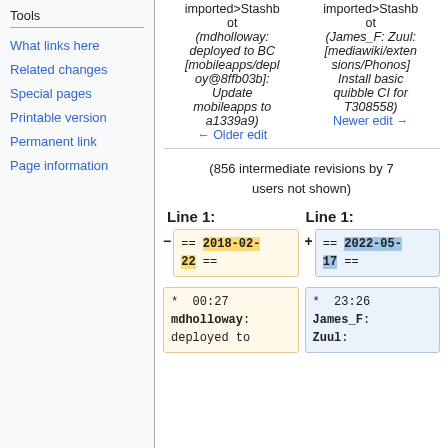Tools
What links here
Related changes
Special pages
Printable version
Permanent link
Page information
imported>Stashbot (mholloway: deployed to BC [mobileapps/deploy@8ffb03b]: Update mobileapps to a1339a9)
← Older edit
imported>Stashbot (James_F: Zuul: [mediawiki/extensions/Phonos] Install basic quibble CI for T308558)
Newer edit →
(856 intermediate revisions by 7 users not shown)
Line 1:
Line 1:
== 2018-02-22 ==
== 2022-05-17 ==
* 00:27 mholloway: deployed to
* 23:26 James_F: Zuul: